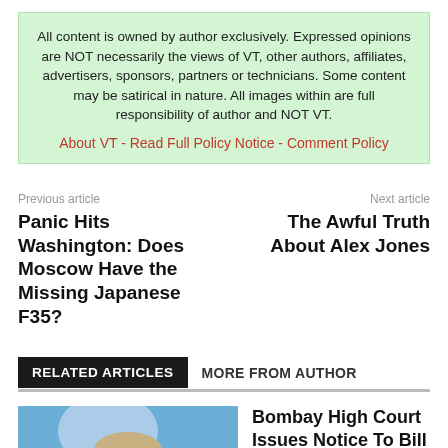All content is owned by author exclusively. Expressed opinions are NOT necessarily the views of VT, other authors, affiliates, advertisers, sponsors, partners or technicians. Some content may be satirical in nature. All images within are full responsibility of author and NOT VT.
About VT - Read Full Policy Notice - Comment Policy
Previous article
Panic Hits Washington: Does Moscow Have the Missing Japanese F35?
Next article
The Awful Truth About Alex Jones
RELATED ARTICLES   MORE FROM AUTHOR
[Figure (photo): Photo of Bill Gates smiling, with a blue background]
Investigations
Bombay High Court Issues Notice To Bill Gates Over Plea On Vaccine Death